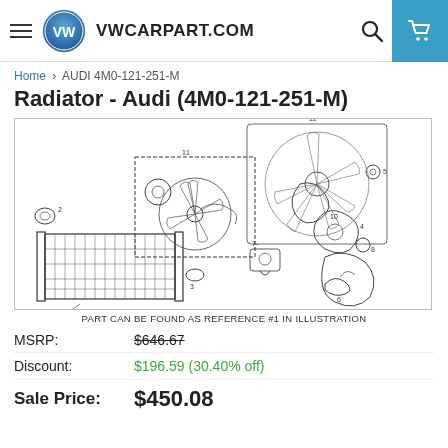VWCARPART.COM
Home > AUDI 4M0-121-251-M
Radiator - Audi (4M0-121-251-M)
[Figure (engineering-diagram): Exploded parts diagram of a car cooling system with numbered parts (1-12). The radiator (part #1) is highlighted with a reference box. Components include fan, water pump, hoses, and related cooling system parts.]
PART CAN BE FOUND AS REFERENCE #1 IN ILLUSTRATION
MSRP: $646.67
Discount: $196.59 (30.40% off)
Sale Price: $450.08